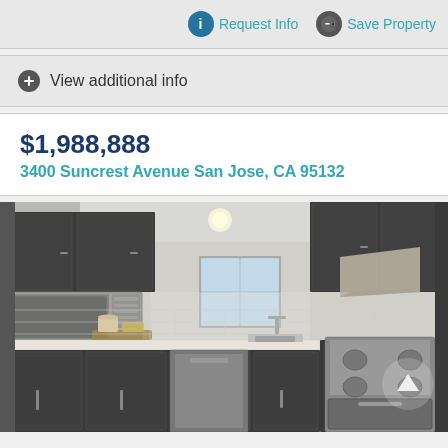Request Info   Save Property
View additional info
$1,988,888
3400 Suncrest Avenue San Jose, CA 95132
[Figure (photo): Interior kitchen photo showing dark gray cabinetry, white quartz countertops, stainless steel appliances including an over-the-range microwave and gas range, white subway tile backsplash, and light wood-look flooring.]